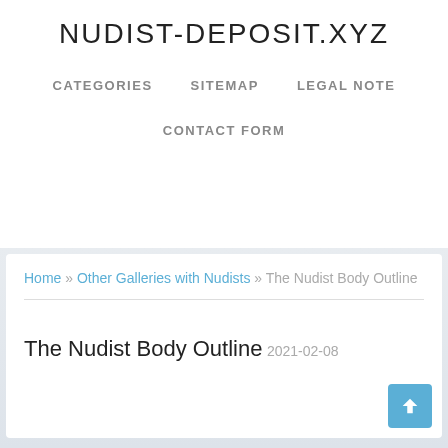NUDIST-DEPOSIT.XYZ
CATEGORIES   SITEMAP   LEGAL NOTE
CONTACT FORM
Home » Other Galleries with Nudists » The Nudist Body Outline
The Nudist Body Outline
2021-02-08